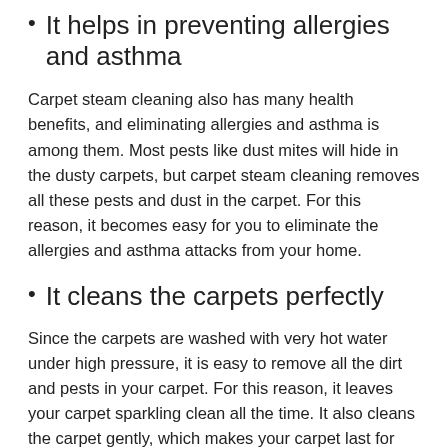It helps in preventing allergies and asthma
Carpet steam cleaning also has many health benefits, and eliminating allergies and asthma is among them. Most pests like dust mites will hide in the dusty carpets, but carpet steam cleaning removes all these pests and dust in the carpet. For this reason, it becomes easy for you to eliminate the allergies and asthma attacks from your home.
It cleans the carpets perfectly
Since the carpets are washed with very hot water under high pressure, it is easy to remove all the dirt and pests in your carpet. For this reason, it leaves your carpet sparkling clean all the time. It also cleans the carpet gently, which makes your carpet last for ages without any damages.